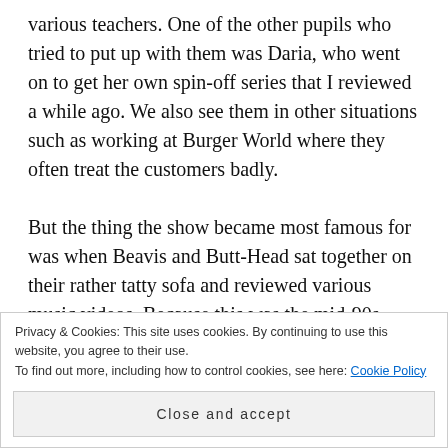various teachers. One of the other pupils who tried to put up with them was Daria, who went on to get her own spin-off series that I reviewed a while ago. We also see them in other situations such as working at Burger World where they often treat the customers badly.

But the thing the show became most famous for was when Beavis and Butt-Head sat together on their rather tatty sofa and reviewed various music videos. Because this was the mid-90s there were rather a lot of videos featured from the grunge
Privacy & Cookies: This site uses cookies. By continuing to use this website, you agree to their use.
To find out more, including how to control cookies, see here: Cookie Policy
Close and accept